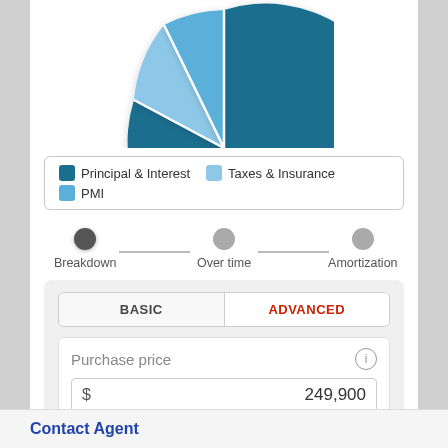[Figure (pie-chart): Partially visible pie chart showing mortgage payment breakdown with dark teal (Principal & Interest), light blue (Taxes & Insurance), and teal-blue (PMI) segments. Top half cropped.]
Principal & Interest   Taxes & Insurance   PMI
[Figure (infographic): A horizontal step indicator with three dots connected by a line. The leftmost dot is dark/active (Breakdown), middle dot is gray (Over time), rightmost dot is gray (Amortization).]
BASIC   ADVANCED
Purchase price
$ 249,900
Contact Agent